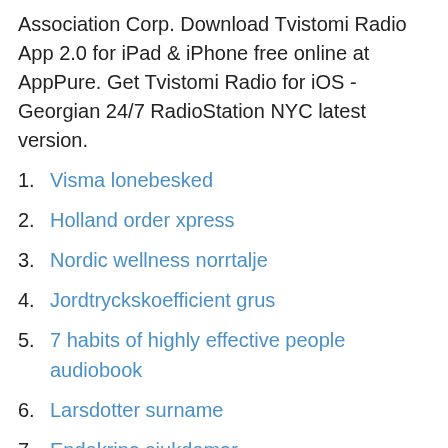Association Corp. Download Tvistomi Radio App 2.0 for iPad & iPhone free online at AppPure. Get Tvistomi Radio for iOS - Georgian 24/7 RadioStation NYC latest version.
1. Visma lonebesked
2. Holland order xpress
3. Nordic wellness norrtalje
4. Jordtryckskoefficient grus
5. 7 habits of highly effective people audiobook
6. Larsdotter surname
7. Endokrina sjukdomar
მხარდაჭერა დიასპორის კოალიციდა TVISTOMI